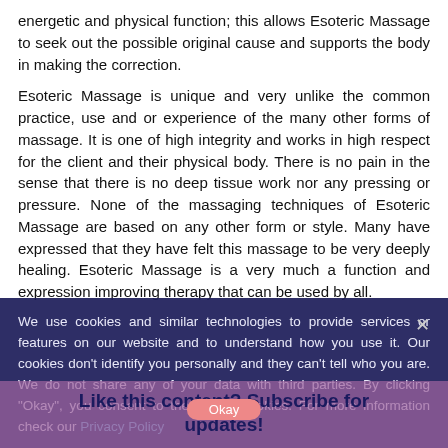energetic and physical function; this allows Esoteric Massage to seek out the possible original cause and supports the body in making the correction.
Esoteric Massage is unique and very unlike the common practice, use and or experience of the many other forms of massage. It is one of high integrity and works in high respect for the client and their physical body. There is no pain in the sense that there is no deep tissue work nor any pressing or pressure. None of the massaging techniques of Esoteric Massage are based on any other form or style. Many have expressed that they have felt this massage to be very deeply healing. Esoteric Massage is a very much a function and expression improving therapy that can be used by all.
We use cookies and similar technologies to provide services or features on our website and to understand how you use it. Our cookies don't identify you personally and they can't tell who you are. We do not share any of your data with third parties. By clicking "Okay", you consent to the use of cookies. For more information check our Privacy Policy
Like this content? Subscribe for updates!